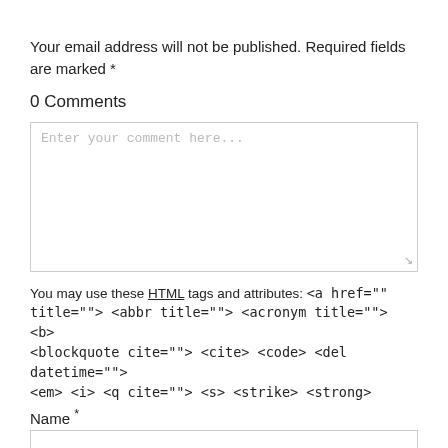Your email address will not be published. Required fields are marked *
0 Comments
[Figure (screenshot): Comment textarea with placeholder text 'Enter your comment here...']
You may use these HTML tags and attributes: <a href="" title=""> <abbr title=""> <acronym title=""> <b> <blockquote cite=""> <cite> <code> <del datetime=""> <em> <i> <q cite=""> <s> <strike> <strong>
Name *
[Figure (screenshot): Name input field]
Email *
[Figure (screenshot): Email input field]
Website
[Figure (screenshot): Website input field]